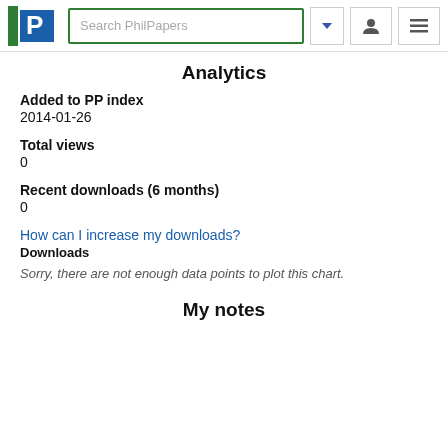Search PhilPapers
Analytics
Added to PP index
2014-01-26
Total views
0
Recent downloads (6 months)
0
How can I increase my downloads?
Downloads
Sorry, there are not enough data points to plot this chart.
My notes